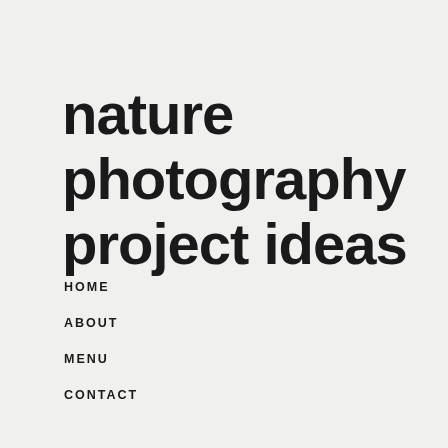nature photography project ideas
HOME
ABOUT
MENU
CONTACT